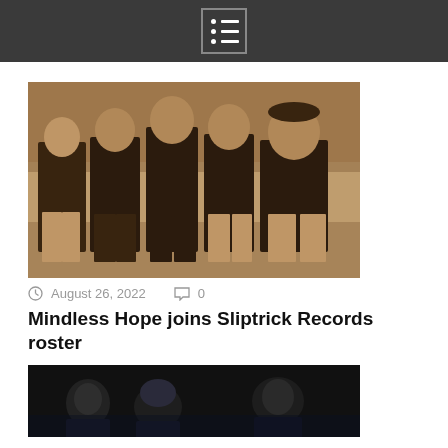Navigation menu icon
[Figure (photo): Five men standing outdoors in a sepia-toned photo, all wearing dark t-shirts, posed in front of a vine-covered wall or fence. Band photo for Mindless Hope.]
August 26, 2022   0
Mindless Hope joins Sliptrick Records roster
[Figure (photo): Dark photo showing several people, partially visible, appearing to be a band photo. Bottom portion of page.]